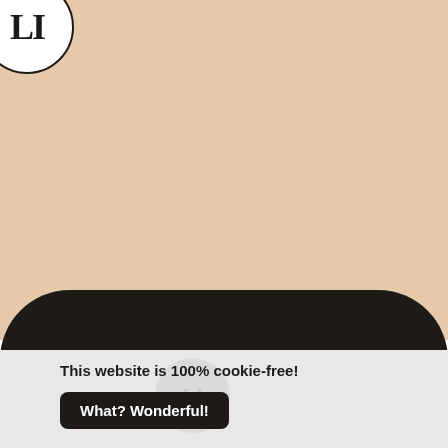[Figure (logo): Circular logo with letters LI in serif font, black border on white background, positioned top-left corner]
[Figure (illustration): Large beige/tan background with dark brown curved shape at the bottom forming a rounded rectangle divider, and a light gray section below]
This website is 100% cookie-free!
What? Wonderful!